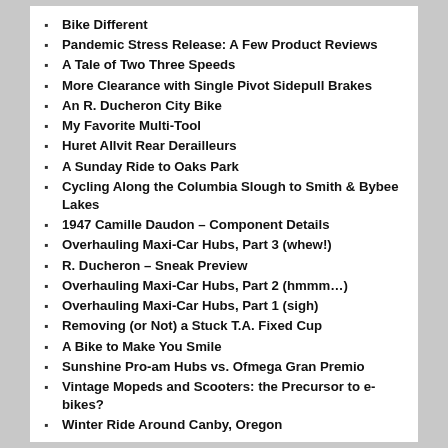Bike Different
Pandemic Stress Release: A Few Product Reviews
A Tale of Two Three Speeds
More Clearance with Single Pivot Sidepull Brakes
An R. Ducheron City Bike
My Favorite Multi-Tool
Huret Allvit Rear Derailleurs
A Sunday Ride to Oaks Park
Cycling Along the Columbia Slough to Smith & Bybee Lakes
1947 Camille Daudon – Component Details
Overhauling Maxi-Car Hubs, Part 3 (whew!)
R. Ducheron – Sneak Preview
Overhauling Maxi-Car Hubs, Part 2 (hmmm…)
Overhauling Maxi-Car Hubs, Part 1 (sigh)
Removing (or Not) a Stuck T.A. Fixed Cup
A Bike to Make You Smile
Sunshine Pro-am Hubs vs. Ofmega Gran Premio
Vintage Mopeds and Scooters: the Precursor to e-bikes?
Winter Ride Around Canby, Oregon